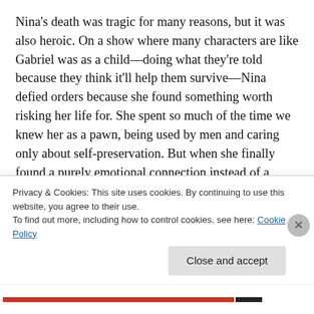Nina's death was tragic for many reasons, but it was also heroic. On a show where many characters are like Gabriel was as a child—doing what they're told because they think it'll help them survive—Nina defied orders because she found something worth risking her life for. She spent so much of the time we knew her as a pawn, being used by men and caring only about self-preservation. But when she finally found a purely emotional connection instead of a sexual one, she risked everything for it. In refusing to
Privacy & Cookies: This site uses cookies. By continuing to use this website, you agree to their use.
To find out more, including how to control cookies, see here: Cookie Policy